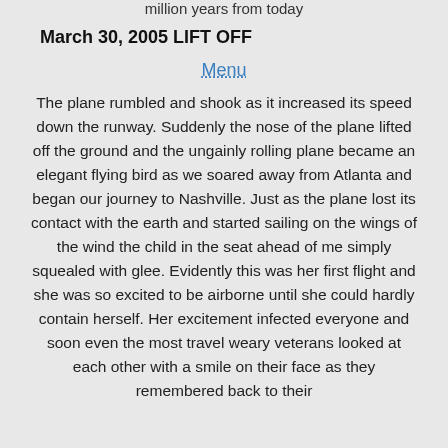million years from today
March 30, 2005 LIFT OFF
Menu
The plane rumbled and shook as it increased its speed down the runway. Suddenly the nose of the plane lifted off the ground and the ungainly rolling plane became an elegant flying bird as we soared away from Atlanta and began our journey to Nashville. Just as the plane lost its contact with the earth and started sailing on the wings of the wind the child in the seat ahead of me simply squealed with glee. Evidently this was her first flight and she was so excited to be airborne until she could hardly contain herself. Her excitement infected everyone and soon even the most travel weary veterans looked at each other with a smile on their face as they remembered back to their